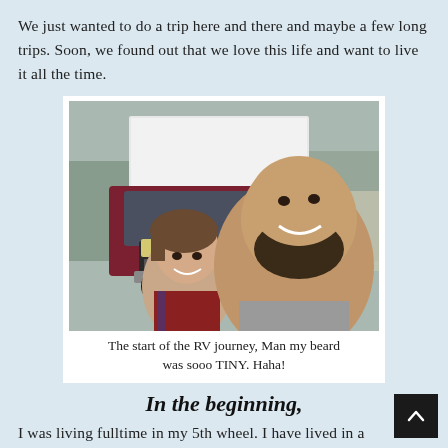We just wanted to do a trip here and there and maybe a few long trips. Soon, we found out that we love this life and want to live it all the time.
[Figure (photo): A couple taking a selfie in front of a red/maroon pickup truck with a white box trailer attached, parked in a lot with trees and a building in the background.]
The start of the RV journey, Man my beard was sooo TINY. Haha!
In the beginning,
I was living fulltime in my 5th wheel. I have lived in a renovated bus before. Then in a